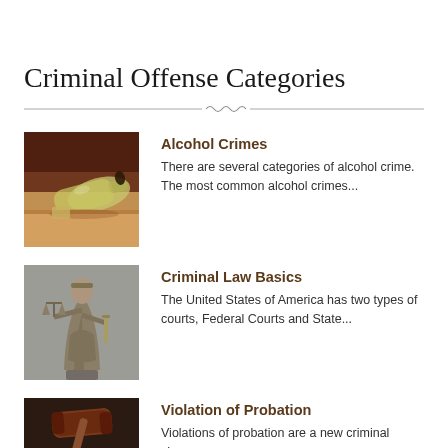Criminal Offense Categories
[Figure (photo): A glass bottle lying on its side on a wooden surface, suggesting alcohol crime context]
Alcohol Crimes
There are several categories of alcohol crime. The most common alcohol crimes...
[Figure (photo): A bronze statue of Lady Justice holding scales, representing criminal law]
Criminal Law Basics
The United States of America has two types of courts, Federal Courts and State...
[Figure (photo): A wooden gavel on a dark surface, representing violation of probation]
Violation of Probation
Violations of probation are a new criminal charge on